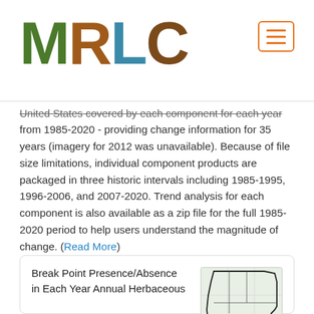[Figure (logo): MRLC logo with colorful nature-photo letters M, R, L, C]
United States covered by each component for each year from 1985-2020 - providing change information for 35 years (imagery for 2012 was unavailable). Because of file size limitations, individual component products are packaged in three historic intervals including 1985-1995, 1996-2006, and 2007-2020. Trend analysis for each component is also available as a zip file for the full 1985-2020 period to help users understand the magnitude of change. (Read More)
Break Point Presence/Absence in Each Year Annual Herbaceous
[Figure (map): Map of Western US showing region outline]
Western U.S. | Time Series Trends